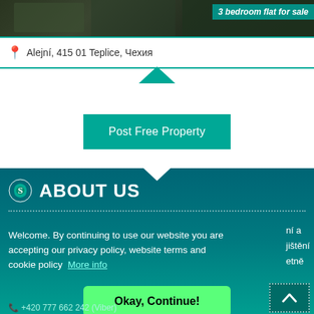[Figure (photo): Dark photo of a building/street scene used as property listing image header]
3 bedroom flat for sale
Alejní, 415 01 Teplice, Чехия
Post Free Property
ABOUT US
ní a jištění etně
Welcome. By continuing to use our website you are accepting our privacy policy, website terms and cookie policy  More info
Okay, Continue!
+420 777 662 242 (Viber)